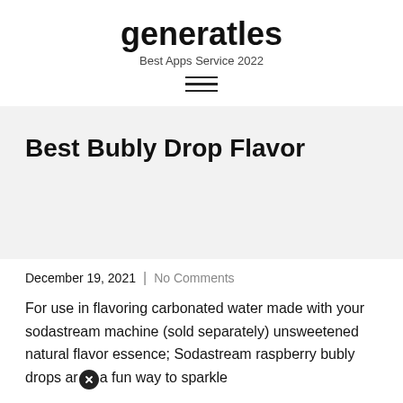generatles
Best Apps Service 2022
Best Bubly Drop Flavor
December 19, 2021  |  No Comments
For use in flavoring carbonated water made with your sodastream machine (sold separately) unsweetened natural flavor essence; Sodastream raspberry bubly drops are a fun way to sparkle